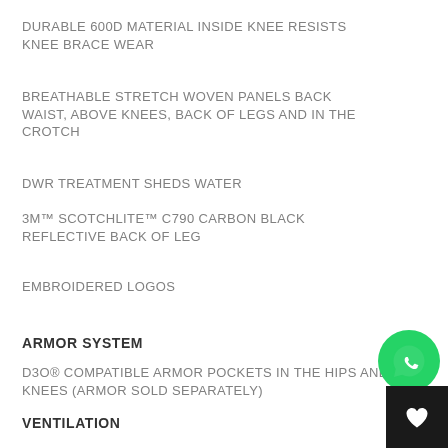DURABLE 600D MATERIAL INSIDE KNEE RESISTS KNEE BRACE WEAR
BREATHABLE STRETCH WOVEN PANELS BACK WAIST, ABOVE KNEES, BACK OF LEGS AND IN THE CROTCH
DWR TREATMENT SHEDS WATER
3M™ SCOTCHLITE™ C790 CARBON BLACK REFLECTIVE BACK OF LEG
EMBROIDERED LOGOS
ARMOR SYSTEM
D3O® COMPATIBLE ARMOR POCKETS IN THE HIPS AND KNEES (ARMOR SOLD SEPARATELY)
VENTILATION
[Figure (logo): WhatsApp green circular icon with white phone handset]
[Figure (logo): Black square button with white heart icon]